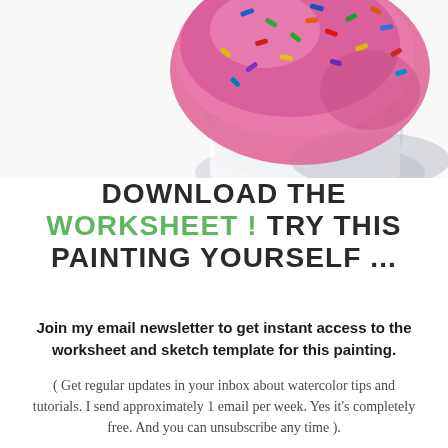[Figure (illustration): Watercolor painting of a pink frosted cupcake/donut with colorful sprinkles on a white paper liner, partially cropped at top]
DOWNLOAD THE WORKSHEET ! TRY THIS PAINTING YOURSELF ...
Join my email newsletter to get instant access to the worksheet and sketch template for this painting. ( Get regular updates in your inbox about watercolor tips and tutorials. I send approximately 1 email per week. Yes it's completely free. And you can unsubscribe any time ).